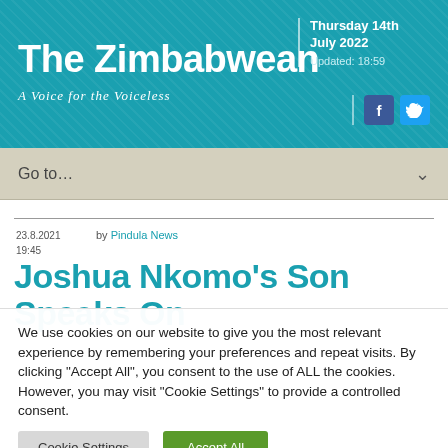The Zimbabwean — A Voice for the Voiceless | Thursday 14th July 2022 | Updated: 18:59
Go to...
23.8.2021 19:45  by Pindula News
Joshua Nkomo's Son Speaks On
We use cookies on our website to give you the most relevant experience by remembering your preferences and repeat visits. By clicking "Accept All", you consent to the use of ALL the cookies. However, you may visit "Cookie Settings" to provide a controlled consent.